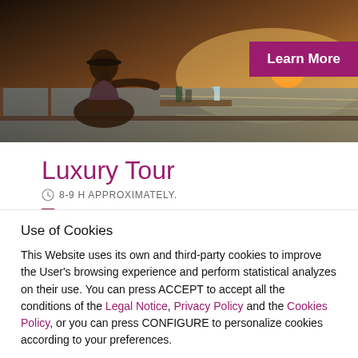[Figure (photo): Photo of a person on a boat at sunset, with water and warm golden light in the background. A 'Learn More' button overlays the top-right corner.]
Luxury Tour
8-9 H APPROXIMATELY.
Pcik up.
Use of Cookies
This Website uses its own and third-party cookies to improve the User's browsing experience and perform statistical analyzes on their use. You can press ACCEPT to accept all the conditions of the Legal Notice, Privacy Policy and the Cookies Policy, or you can press CONFIGURE to personalize cookies according to your preferences.
Settings
Accept